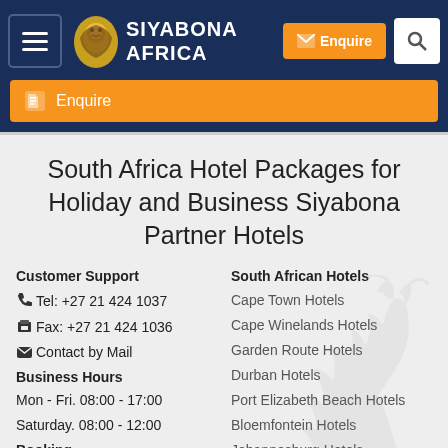Siyabona Africa — Navigation header with hamburger menu, logo, Enquire button, search button
Enquire
South Africa Hotel Packages for Holiday and Business Siyabona Partner Hotels
Customer Support
Tel: +27 21 424 1037
Fax: +27 21 424 1036
Contact by Mail
Business Hours
Mon - Fri. 08:00 - 17:00
Saturday. 08:00 - 12:00
Booking
South African Hotels
Cape Town Hotels
Cape Winelands Hotels
Garden Route Hotels
Durban Hotels
Port Elizabeth Beach Hotels
Bloemfontein Hotels
Johannesburg Hotels